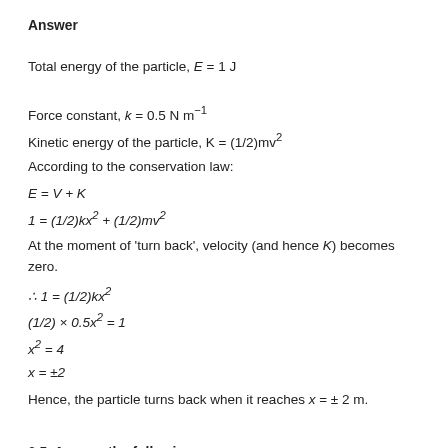Answer
Total energy of the particle, E = 1 J
Force constant, k = 0.5 N m⁻¹
Kinetic energy of the particle, K = (1/2)mv²
According to the conservation law:
At the moment of 'turn back', velocity (and hence K) becomes zero.
Hence, the particle turns back when it reaches x = ± 2 m.
6.5. Answer the following:
(a) The casing of a rocket in flight burns up due to friction. At
whose expense is the heat energy required for burning